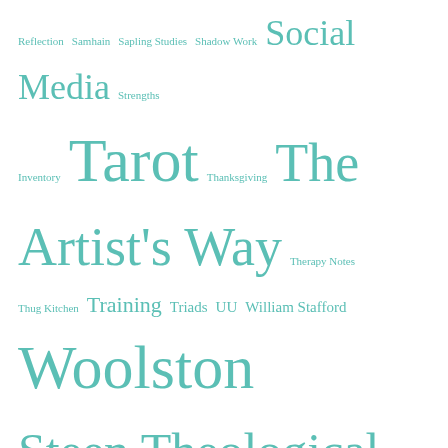Reflection Samhain Sapling Studies Shadow Work Social Media Strengths Inventory Tarot Thanksgiving The Artist's Way Therapy Notes Thug Kitchen Training Triads UU William Stafford Woolston Steen Theological Seminary WoW
ARCHIVES
Select Month
RECENT COMMENTS
samtheviking on A Video Test
smbfrei on Okay, okay, I get it! I'...